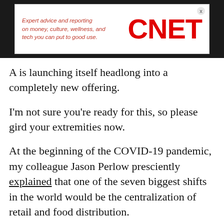[Figure (logo): CNET advertisement banner with tagline 'Expert advice and reporting on money, culture, wellness, and tech you can put to good use.' and CNET logo in red]
A is launching itself headlong into a completely new offering.
I'm not sure you're ready for this, so please gird your extremities now.
At the beginning of the COVID-19 pandemic, my colleague Jason Perlow presciently explained that one of the seven biggest shifts in the world would be the centralization of retail and food distribution.
So here is Chick-fil-A launching an entirely new concept. It's called the Little Blue Menu. And it's anything but little.